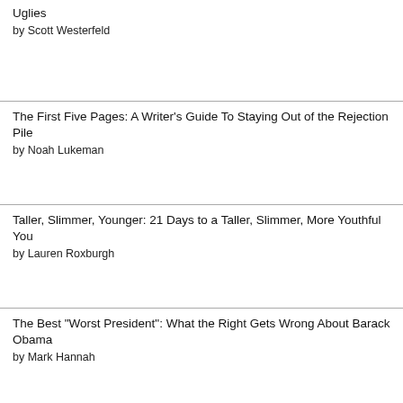Uglies by Scott Westerfeld
The First Five Pages: A Writer's Guide To Staying Out of the Rejection Pile by Noah Lukeman
Taller, Slimmer, Younger: 21 Days to a Taller, Slimmer, More Youthful You by Lauren Roxburgh
The Best "Worst President": What the Right Gets Wrong About Barack Obama by Mark Hannah
How to Get Publicity For Your Book by Natalie Obando
The Twilight Wife by A.J. Banner